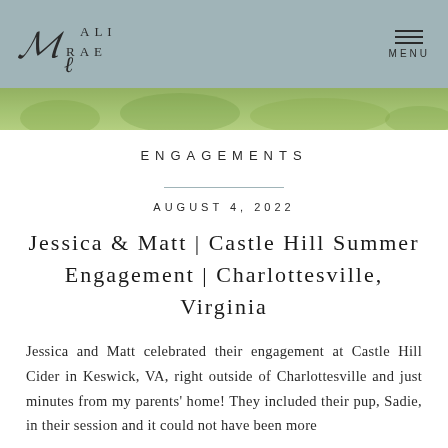Ali Rae | MENU
[Figure (photo): Green grass strip / outdoor landscape photo banner]
ENGAGEMENTS
AUGUST 4, 2022
Jessica & Matt | Castle Hill Summer Engagement | Charlottesville, Virginia
Jessica and Matt celebrated their engagement at Castle Hill Cider in Keswick, VA, right outside of Charlottesville and just minutes from my parents' home! They included their pup, Sadie, in their session and it could not have been more